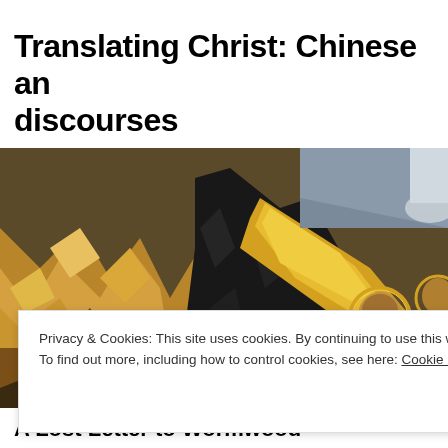Translating Christ: Chinese and discourses
[Figure (illustration): A religious painting depicting medieval or Byzantine-style figures — a figure in light garments crouching on rocky terrain at left, a large black draped form in the center, a golden/yellow diagonal shape, and figures with halos at right wearing red and orange robes.]
Privacy & Cookies: This site uses cookies. By continuing to use this website, you agree to their use.
To find out more, including how to control cookies, see here: Cookie Policy
Close and accept
A Lost Letter to Wormwood